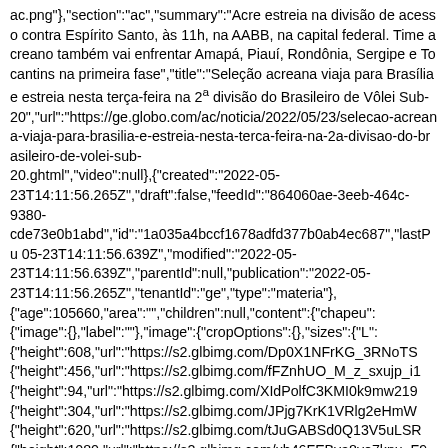ac.png"},"section":"ac","summary":"Acre estreia na divisão de acesso contra Espírito Santo, às 11h, na AABB, na capital federal. Time acreano também vai enfrentar Amapá, Piauí, Rondônia, Sergipe e Tocantins na primeira fase","title":"Seleção acreana viaja para Brasília e estreia nesta terça-feira na 2ª divisão do Brasileiro de Vôlei Sub-20","url":"https://ge.globo.com/ac/noticia/2022/05/23/selecao-acreana-viaja-para-brasilia-e-estreia-nesta-terca-feira-na-2a-divisao-do-brasileiro-de-volei-sub-20.ghtml","video":null},{"created":"2022-05-23T14:11:56.265Z","draft":false,"feedId":"864060ae-3eeb-464c-9380-cde73e0b1abd","id":"1a035a4bccf1678adfd377b0ab4ec687","lastPu 05-23T14:11:56.639Z","modified":"2022-05-23T14:11:56.639Z","parentId":null,"publication":"2022-05-23T14:11:56.265Z","tenantId":"ge","type":"materia"},{"age":105660,"area":"","children":null,"content":{"chapeu":{"image":{},"label":""},"image":{"cropOptions":{},"sizes":{"L":{"height":608,"url":"https://s2.glbimg.com/Dp0X1NFrKG_3RNoTS {"height":456,"url":"https://s2.glbimg.com/fFZnhUO_M_z_sxujp_i1 {"height":94,"url":"https://s2.glbimg.com/XIdPolfC3KMI0k9mw219 {"height":304,"url":"https://s2.glbimg.com/JPjg7KrK1VRlg2eHmW {"height":620,"url":"https://s2.glbimg.com/tJuGABSd0Q13V5uLSR {"height":1080,"url":"https://s2.glbimg.com/xh46FEBva8yo7kpu_F9 {"height":810,"url":"https://s2.glbimg.com/8mJVmZg3Ryagf9s6rbP